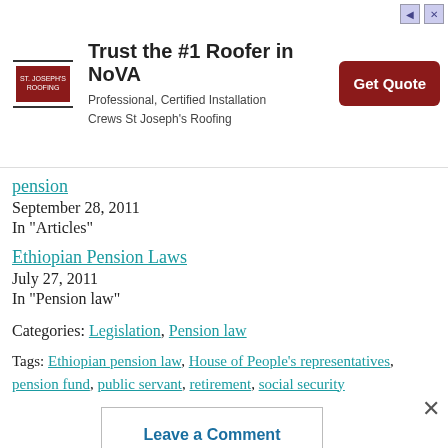[Figure (other): Advertisement banner for St Joseph's Roofing: 'Trust the #1 Roofer in NoVA', Professional Certified Installation Crews St Joseph's Roofing, with a red Get Quote button and navigation icons.]
pension
September 28, 2011
In "Articles"
Ethiopian Pension Laws
July 27, 2011
In "Pension law"
Categories: Legislation, Pension law
Tags: Ethiopian pension law, House of People's representatives, pension fund, public servant, retirement, social security
Leave a Comment